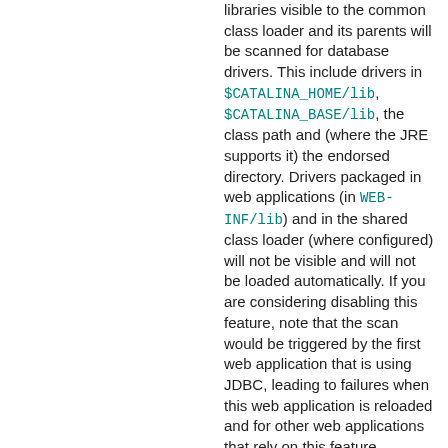libraries visible to the common class loader and its parents will be scanned for database drivers. This include drivers in $CATALINA_HOME/lib, $CATALINA_BASE/lib, the class path and (where the JRE supports it) the endorsed directory. Drivers packaged in web applications (in WEB-INF/lib) and in the shared class loader (where configured) will not be visible and will not be loaded automatically. If you are considering disabling this feature, note that the scan would be triggered by the first web application that is using JDBC, leading to failures when this web application is reloaded and for other web applications that rely on this feature.